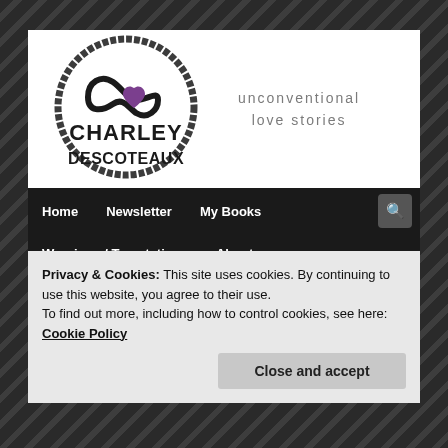[Figure (logo): Charley Descoteaux logo with infinity symbol and purple heart, circular brushstroke border, text reads CHARLEY DESCOTEAUX. Tagline: unconventional love stories]
Home  Newsletter  My Books  Warnings / Temptations  About
← Previous  Next →
Privacy & Cookies: This site uses cookies. By continuing to use this website, you agree to their use.
To find out more, including how to control cookies, see here:
Cookie Policy
Close and accept
Time for Everything is the birth of a new branch of